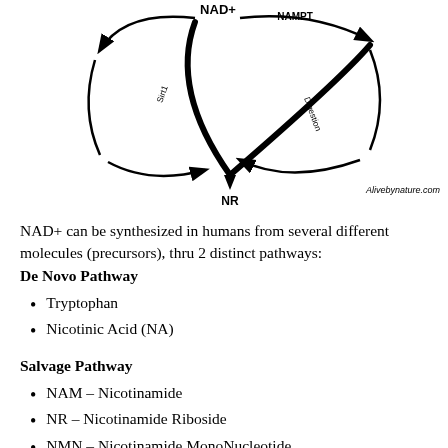[Figure (infographic): Circular pathway diagram showing NAD+ synthesis cycle with arrows connecting NAD+, NR, and other molecules via NAMPT and other enzymes. Includes an ingredients box listing NMN Plus components and Alivebynature.com credit.]
NAD+ can be synthesized in humans from several different molecules (precursors), thru 2 distinct pathways:
De Novo Pathway
Tryptophan
Nicotinic Acid (NA)
Salvage Pathway
NAM – Nicotinamide
NR – Nicotinamide Riboside
NMN – Nicotinamide MonoNucleotide